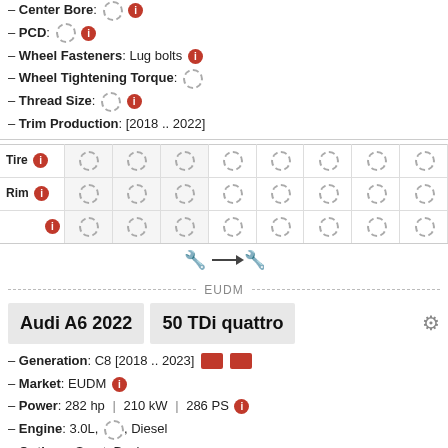– Center Bore: [spinner] [info]
– PCD: [spinner] [info]
– Wheel Fasteners: Lug bolts [info]
– Wheel Tightening Torque: [spinner]
– Thread Size: [spinner] [info]
– Trim Production: [2018 .. 2022]
| Tire [info] |  |  |  |  |  |  |  |  |
| --- | --- | --- | --- | --- | --- | --- | --- | --- |
| Rim [info] |  |  |  |  |  |  |  |  |
| [info] |  |  |  |  |  |  |  |  |
[Figure (other): Wrench and arrow icon indicating spacing/offset tool]
EUDM
Audi A6 2022   50 TDi quattro
– Generation: C8 [2018 .. 2023] [image] [image]
– Market: EUDM [info]
– Power: 282 hp | 210 kW | 286 PS [info]
– Engine: 3.0L, [spinner], Diesel
– Options: Sport, Design